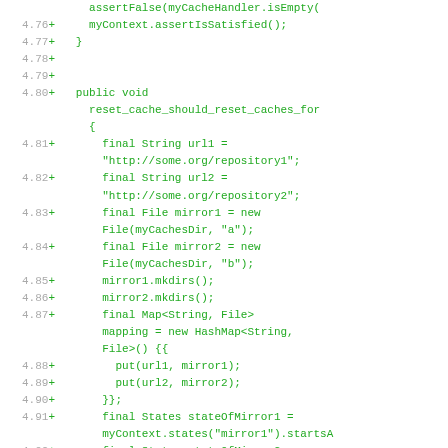[Figure (screenshot): Code diff screenshot showing Java test code with line numbers 4.76-4.92+, green added lines on white background, monospace font]